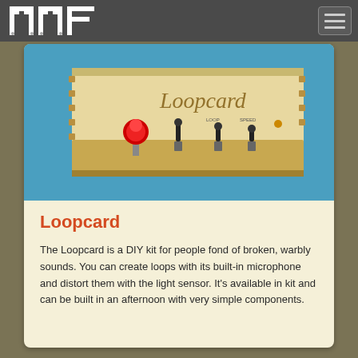MMF
[Figure (photo): A wooden laser-cut enclosure labeled 'Loopcard' with multiple toggle switches and a red push button on a blue background.]
Loopcard
The Loopcard is a DIY kit for people fond of broken, warbly sounds. You can create loops with its built-in microphone and distort them with the light sensor. It's available in kit and can be built in an afternoon with very simple components.